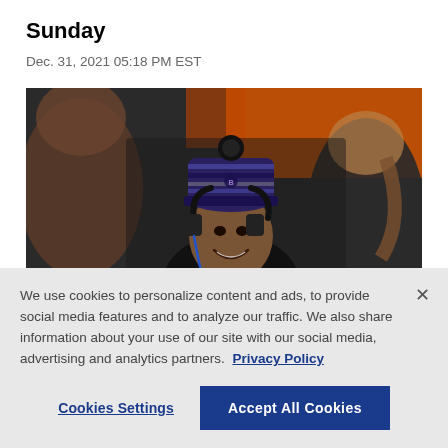Sunday
Dec. 31, 2021 05:18 PM EST
[Figure (photo): A smiling man wearing a purple and black knit winter hat with a pom-pom and headphones around his neck, surrounded by blurred people in a stadium setting with orange seats in the background.]
We use cookies to personalize content and ads, to provide social media features and to analyze our traffic. We also share information about your use of our site with our social media, advertising and analytics partners.  Privacy Policy
Cookies Settings
Accept All Cookies